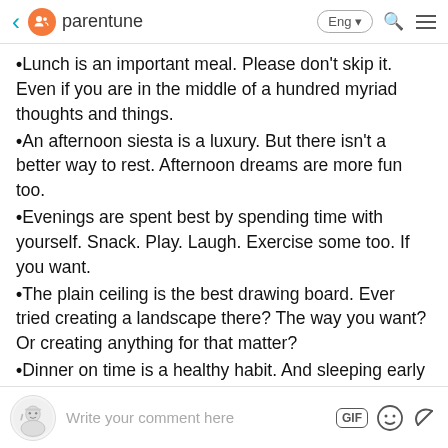parentune
Lunch is an important meal. Please don't skip it. Even if you are in the middle of a hundred myriad thoughts and things.
An afternoon siesta is a luxury. But there isn't a better way to rest. Afternoon dreams are more fun too.
Evenings are spent best by spending time with yourself. Snack. Play. Laugh. Exercise some too. If you want.
The plain ceiling is the best drawing board. Ever tried creating a landscape there? The way you want? Or creating anything for that matter?
Dinner on time is a healthy habit. And sleeping early an even better one.
Look around for a bit before you sleep. Outside the window. At the ceiling. Into empty space. This is the time when must appreciate yourself. For all that you achieved during the
Write your comment here